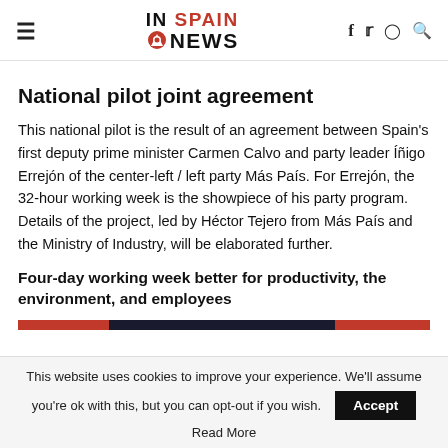IN SPAIN NEWS
National pilot joint agreement
This national pilot is the result of an agreement between Spain's first deputy prime minister Carmen Calvo and party leader Íñigo Errejón of the center-left / left party Más País. For Errejón, the 32-hour working week is the showpiece of his party program.  Details of the project, led by Héctor Tejero from Más País and the Ministry of Industry, will be elaborated further.
Four-day working week better for productivity, the environment, and employees
[Figure (other): Progress bar strip with red, dark navy, and red sections]
This website uses cookies to improve your experience. We'll assume you're ok with this, but you can opt-out if you wish.
Accept
Read More